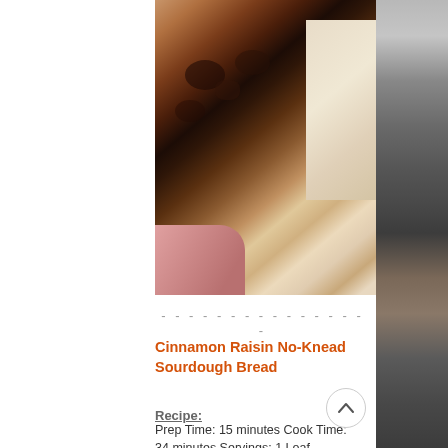[Figure (photo): Close-up photo of a sliced cinnamon raisin sourdough bread held in a hand, showing the interior crumb with raisins and nuts visible. A stone surface is visible on the right side of the image.]
Cinnamon Raisin No-Knead Sourdough Bread
Recipe:
Prep Time: 15 minutes Cook Time: 34 minutes Servings: 1 Loaf
Ingredients
3 cups white flour
1 cup rye flour